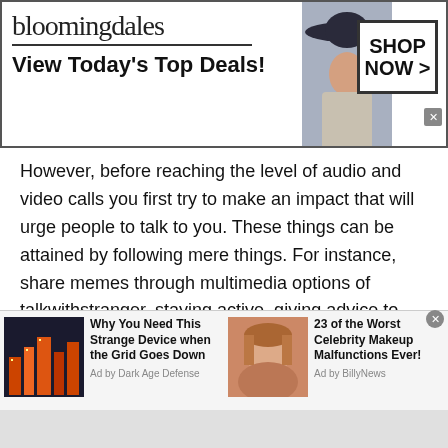[Figure (screenshot): Bloomingdale's advertisement banner with logo, 'View Today's Top Deals!' tagline, model photo, and 'SHOP NOW >' button]
However, before reaching the level of audio and video calls you first try to make an impact that will urge people to talk to you. These things can be attained by following mere things. For instance, share memes through multimedia options of talkwithstranger, staying active, giving advice to the people, and being helpful. These things leave a drastic impact on other people and chat with people of Bhutan will be alot more easier and fun. Furthermore, you can also share the latest new or
[Figure (screenshot): Bottom advertisement bar with two ad items: 'Why You Need This Strange Device when the Grid Goes Down' (Ad by Dark Age Defense) and '23 of the Worst Celebrity Makeup Malfunctions Ever!' (Ad by BillyNews)]